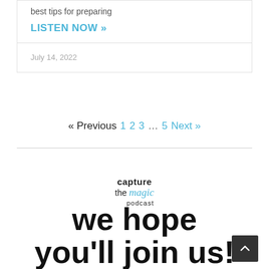best tips for preparing
LISTEN NOW »
July 14, 2022
« Previous  1  2  3  …  5  Next »
[Figure (logo): capture the magic podcast logo with stylized italic 'magic' in blue]
we hope you'll join us!